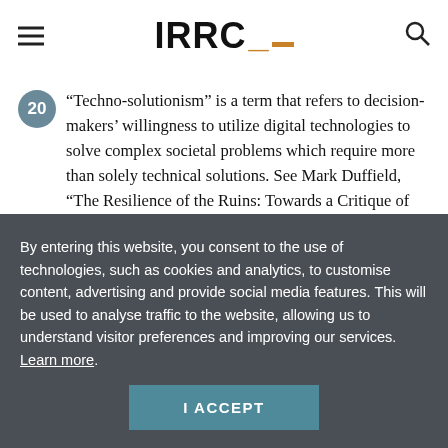IRRC
20 “Techno-solutionism” is a term that refers to decision-makers’ willingness to utilize digital technologies to solve complex societal problems which require more than solely technical solutions. See Mark Duffield, “The Resilience of the Ruins: Towards a Critique of Digital Humanitarianism”, Resilience, Vol. 4, No. 3, 16; Petra Molnar, Technological Testing Grounds, EDRi and Refugee Law Lab, Brussels – available at:
By entering this website, you consent to the use of technologies, such as cookies and analytics, to customise content, advertising and provide social media features. This will be used to analyse traffic to the website, allowing us to understand visitor preferences and improving our services. Learn more.
I ACCEPT